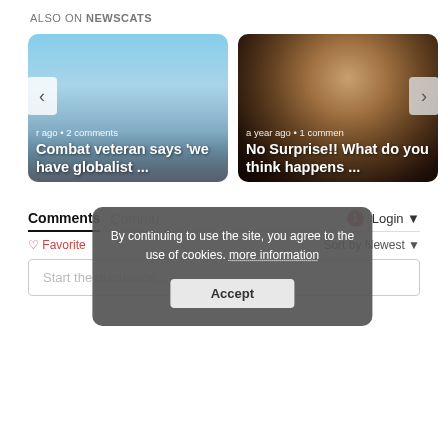ALSO ON NEWSCATS
[Figure (screenshot): Article card with aerial city skyline photo. Text overlay: 'r ago • 2 comments' and title 'Combat veteran says we have globalist ...']
[Figure (screenshot): Article card with dark photo of a bald man. Text overlay: 'a year ago • 1 comment' and title 'No Surprise!! What do you think happens ...']
Comments
Community
Login
♡ Favorite
Sort by Newest
By continuing to use the site, you agree to the use of cookies. more information
Accept
Start the discussion...